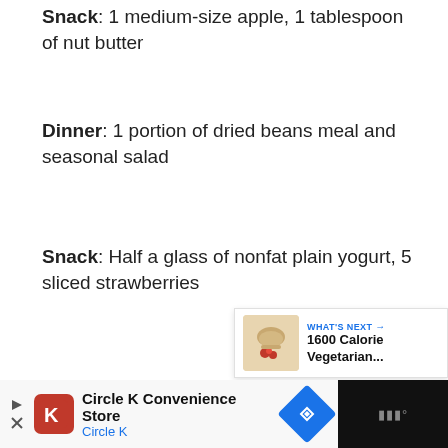Snack: 1 medium-size apple, 1 tablespoon of nut butter
Dinner: 1 portion of dried beans meal and seasonal salad
Snack: Half a glass of nonfat plain yogurt, 5 sliced strawberries
[Figure (screenshot): Social media UI elements: heart/like button (blue circle), count '1', share button]
[Figure (screenshot): What's Next panel showing '1600 Calorie Vegetarian...' with food thumbnail]
[Figure (screenshot): Advertisement bar for Circle K Convenience Store with navigation icon]